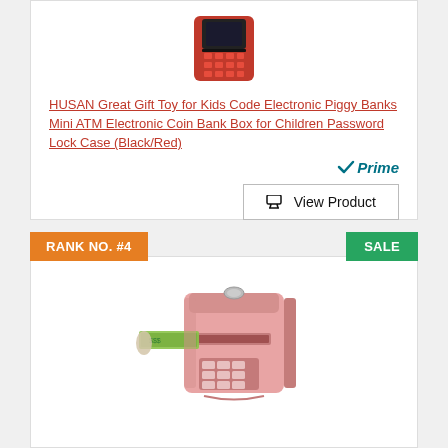[Figure (photo): Red and black mini ATM electronic piggy bank toy with keypad, top portion visible]
HUSAN Great Gift Toy for Kids Code Electronic Piggy Banks Mini ATM Electronic Coin Bank Box for Children Password Lock Case (Black/Red)
[Figure (logo): Amazon Prime badge with checkmark and italic Prime text]
View Product
RANK NO. #4
SALE
[Figure (photo): Pink/rose gold mini ATM electronic piggy bank with hand inserting dollar bills, keypad visible]